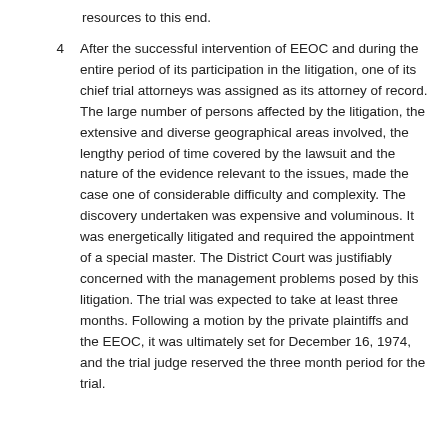resources to this end.
After the successful intervention of EEOC and during the entire period of its participation in the litigation, one of its chief trial attorneys was assigned as its attorney of record. The large number of persons affected by the litigation, the extensive and diverse geographical areas involved, the lengthy period of time covered by the lawsuit and the nature of the evidence relevant to the issues, made the case one of considerable difficulty and complexity. The discovery undertaken was expensive and voluminous. It was energetically litigated and required the appointment of a special master. The District Court was justifiably concerned with the management problems posed by this litigation. The trial was expected to take at least three months. Following a motion by the private plaintiffs and the EEOC, it was ultimately set for December 16, 1974, and the trial judge reserved the three month period for the trial.